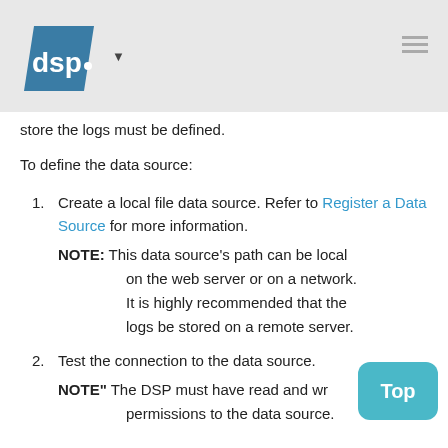dsp [logo] [dropdown] [menu]
store the logs must be defined.
To define the data source:
1. Create a local file data source. Refer to Register a Data Source for more information.
NOTE: This data source's path can be local on the web server or on a network. It is highly recommended that the logs be stored on a remote server.
2. Test the connection to the data source.
NOTE" The DSP must have read and write permissions to the data source.